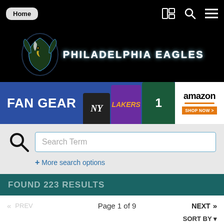Home | Navigation icons
[Figure (logo): Philadelphia Eagles logo with eagle head icon and text PHILADELPHIA EAGLES on black background]
[Figure (screenshot): Amazon Fan Gear banner showing FAN GEAR text with sports jerseys (Yankees cap, Lakers jersey, Eagles jersey) and amazon SHOP NOW button]
Search Term
+ More search options
FOUND 223 RESULTS
PREV   Page 1 of 9   NEXT   SORT BY